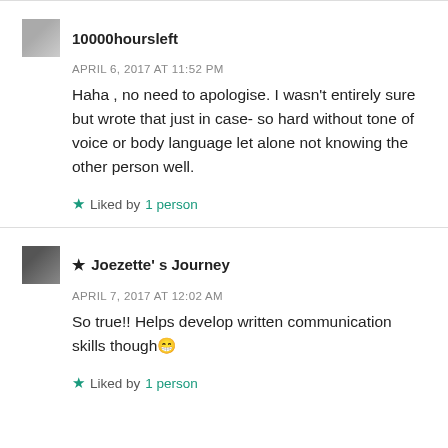10000hoursleft
APRIL 6, 2017 AT 11:52 PM
Haha , no need to apologise. I wasn't entirely sure but wrote that just in case- so hard without tone of voice or body language let alone not knowing the other person well.
Liked by 1 person
★ Joezette's Journey
APRIL 7, 2017 AT 12:02 AM
So true!! Helps develop written communication skills though 😁
Liked by 1 person